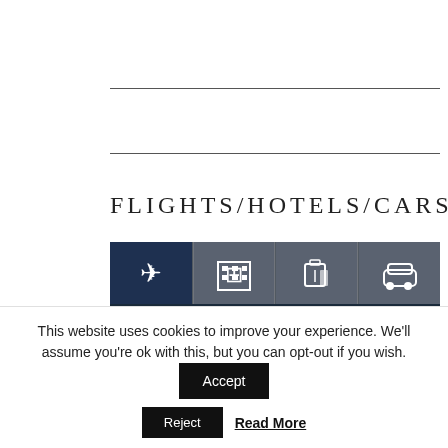[Figure (screenshot): Screenshot of a travel booking website showing navigation tabs with icons for flights (airplane), hotels (building), bags (luggage), and cars (car). Below shows 'SEARCH Flight' text with a flight search interface with sky background.]
FLIGHTS/HOTELS/CARS
This website uses cookies to improve your experience. We'll assume you're ok with this, but you can opt-out if you wish.
Accept
Reject
Read More